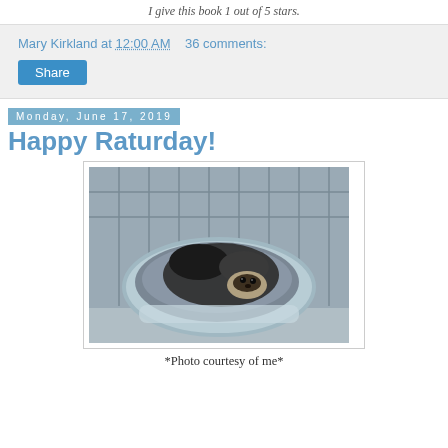I give this book 1 out of 5 stars.
Mary Kirkland at 12:00 AM   36 comments:
Share
Monday, June 17, 2019
Happy Raturday!
[Figure (photo): A ferret curled up in a round gray fluffy pet bed inside a wire cage. The ferret is dark-colored with lighter face markings.]
*Photo courtesy of me*